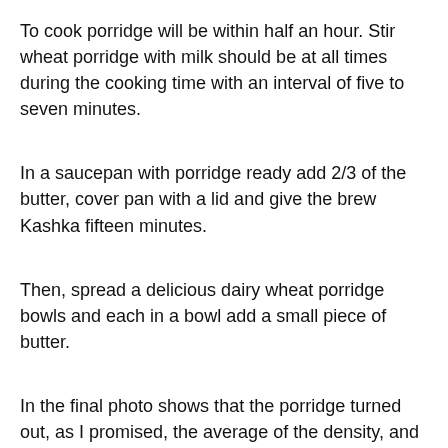To cook porridge will be within half an hour. Stir wheat porridge with milk should be at all times during the cooking time with an interval of five to seven minutes.
In a saucepan with porridge ready add 2/3 of the butter, cover pan with a lid and give the brew Kashka fifteen minutes.
Then, spread a delicious dairy wheat porridge bowls and each in a bowl add a small piece of butter.
In the final photo shows that the porridge turned out, as I promised, the average of the density, and wheat greats